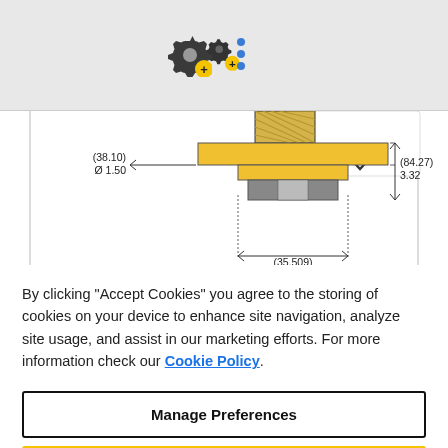[Figure (screenshot): Top bar with gear/settings icon with a plus badge and a vertical three-dot menu icon on a light gray background]
[Figure (engineering-diagram): Technical cross-section drawing of a mechanical part (appears to be a bolt or stud component) shown in yellow/gold and gray with dimension annotations: (38.10) Ø 1.50, 1.66 (partially visible), (84.27) 3.32, (35.509)]
By clicking "Accept Cookies" you agree to the storing of cookies on your device to enhance site navigation, analyze site usage, and assist in our marketing efforts. For more information check our Cookie Policy.
Manage Preferences
Reject All
Accept All Cookies